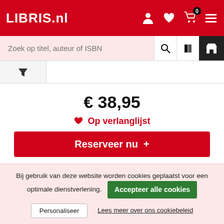LIBRIS.nl
Zoek op titel, auteur of ISBN
€ 38,95
❤ Op verlanglijst
Reserveer nu  +
The Color Master
Aimee Bender
Bij gebruik van deze website worden cookies geplaatst voor een optimale dienstverlening.
Accepteer alle cookies
Personaliseer
Lees meer over ons cookiebeleid